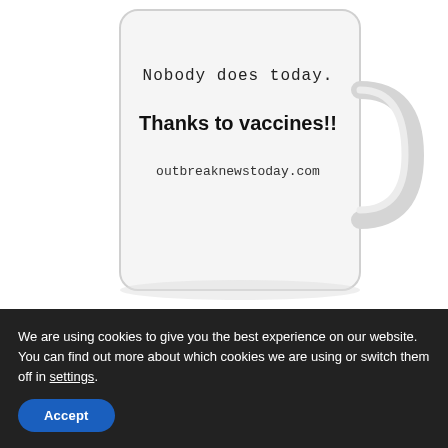[Figure (photo): A white coffee mug with text on it. The mug shows handwritten-style text reading 'Nobody does today.' followed by bold text 'Thanks to vaccines!!' and smaller text 'outbreaknewstoday.com'. The mug has a handle visible on the right side.]
NEWSLETTER
We are using cookies to give you the best experience on our website. You can find out more about which cookies we are using or switch them off in settings.
Accept